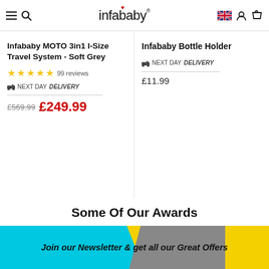infababy
Infababy MOTO 3in1 I-Size Travel System - Soft Grey
★★★★★ 99 reviews
NEXT DAY DELIVERY
£569.99 £249.99
Infababy Bottle Holder
NEXT DAY DELIVERY
£11.99
Some Of Our Awards
[Figure (illustration): Award badges with star icons in navy, silver, bronze, pink, and pink/red colors]
Join our Newsletter & get all our Great Offers